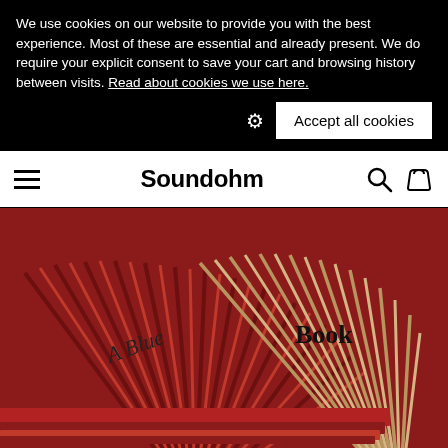We use cookies on our website to provide you with the best experience. Most of these are essential and already present. We do require your explicit consent to save your cart and browsing history between visits. Read about cookies we use here.
Accept all cookies
Soundohm
[Figure (photo): Two fan-shaped books spread open like hand fans — one red/crimson with the text 'A Blue' visible, and one tan/kraft colored with the text 'Book' visible, overlapping each other on a surface.]
♥
▶ play
Out of stock